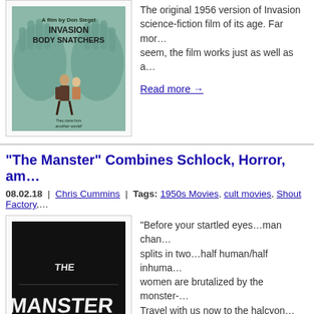[Figure (photo): Movie poster for Invasion of the Body Snatchers (1956) showing two people running, teal/green color scheme with large hands in background]
The original 1956 version of Invasion … science-fiction film of its age. Far mor… seem, the film works just as well as a…
Read more →
“The Manster” Combines Schlock, Horror, am…
08.02.18  |  Chris Cummins  |  Tags: 1950s Movies, cult movies, Shout Factory,…
[Figure (photo): Black and white title card from the movie The Manster showing the film's title in large letters]
“Before your startled eyes…man chan… splits in two…half human/half inhuma… women are brutalized by the monster-… Travel with us now to the halcyon…
Read more →